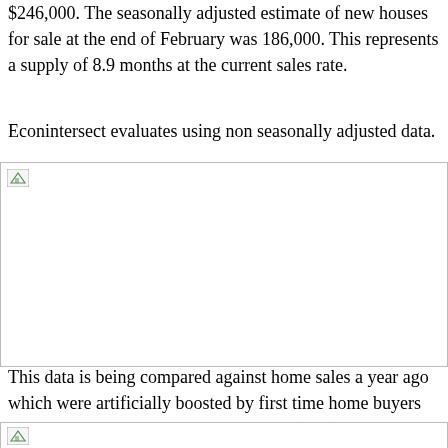$246,000. The seasonally adjusted estimate of new houses for sale at the end of February was 186,000. This represents a supply of 8.9 months at the current sales rate.
Econintersect evaluates using non seasonally adjusted data.
[Figure (other): Image placeholder with broken image icon (chart not loaded)]
This data is being compared against home sales a year ago which were artificially boosted by first time home buyers government incentives.  Year-over-year (YoY) comparisons will be negative until mid year.   Even so, the YoY changes plotted show a reversal of what had been improving second derivative trends.
[Figure (other): Image placeholder with broken image icon (chart not loaded)]